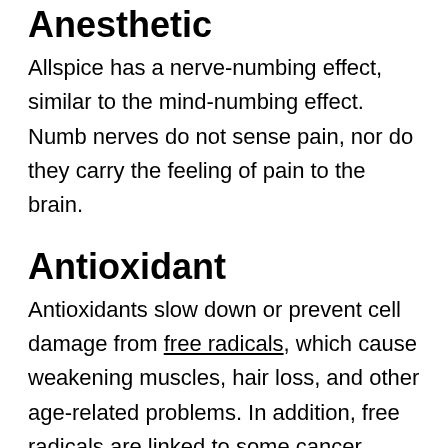Anesthetic
Allspice has a nerve-numbing effect, similar to the mind-numbing effect. Numb nerves do not sense pain, nor do they carry the feeling of pain to the brain.
Antioxidant
Antioxidants slow down or prevent cell damage from free radicals, which cause weakening muscles, hair loss, and other age-related problems. In addition, free radicals are linked to some cancer types, like colon, intestine, and prostate. Arguably, this is the most vital benefit